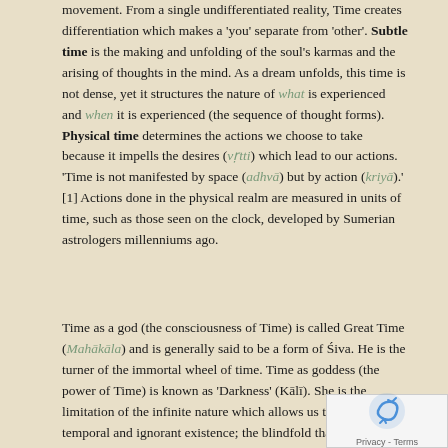movement. From a single undifferentiated reality, Time creates differentiation which makes a 'you' separate from 'other'. Subtle time is the making and unfolding of the soul's karmas and the arising of thoughts in the mind. As a dream unfolds, this time is not dense, yet it structures the nature of what is experienced and when it is experienced (the sequence of thought forms). Physical time determines the actions we choose to take because it impells the desires (vṛtti) which lead to our actions. 'Time is not manifested by space (adhvā) but by action (kriyā).' [1] Actions done in the physical realm are measured in units of time, such as those seen on the clock, developed by Sumerian astrologers millenniums ago.
Time as a god (the consciousness of Time) is called Great Time (Mahākāla) and is generally said to be a form of Śiva. He is the turner of the immortal wheel of time. Time as goddess (the power of Time) is known as 'Darkness' (Kālī). She is the limitation of the infinite nature which allows us to experience a temporal and ignorant existence; the blindfold that hides our divine nature (making the illusion real). She is the mother of our material existence, our mental experience and our individuality. In our perceivable realities, the dance of these two are seen in the movement of the Sun and the Moon; standing opposite (pūrṇa) and then coming together (saṁghaṭa) each month, as t...